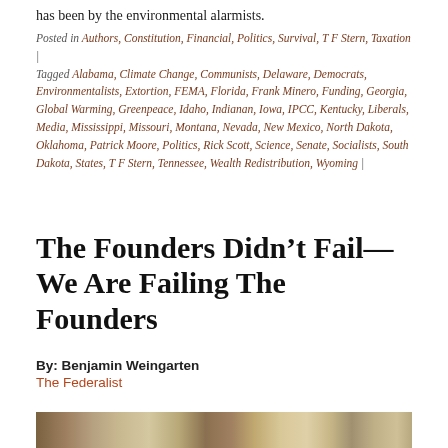has been by the environmental alarmists.
Posted in Authors, Constitution, Financial, Politics, Survival, T F Stern, Taxation | Tagged Alabama, Climate Change, Communists, Delaware, Democrats, Environmentalists, Extortion, FEMA, Florida, Frank Minero, Funding, Georgia, Global Warming, Greenpeace, Idaho, Indianan, Iowa, IPCC, Kentucky, Liberals, Media, Mississippi, Missouri, Montana, Nevada, New Mexico, North Dakota, Oklahoma, Patrick Moore, Politics, Rick Scott, Science, Senate, Socialists, South Dakota, States, T F Stern, Tennessee, Wealth Redistribution, Wyoming |
The Founders Didn’t Fail—We Are Failing The Founders
By: Benjamin Weingarten
The Federalist
[Figure (photo): Historical painting showing the Founding Fathers, partially visible at the bottom of the page]